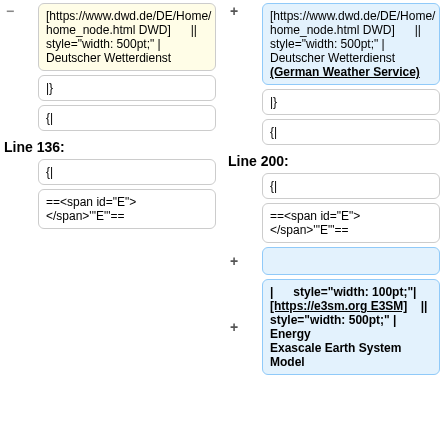[https://www.dwd.de/DE/Home/home_node.html DWD] || style="width: 500pt;" | Deutscher Wetterdienst (removed/left)
[https://www.dwd.de/DE/Home/home_node.html DWD] || style="width: 500pt;" | Deutscher Wetterdienst (German Weather Service) (added/right)
|}
|}
{|
{|
Line 136:
Line 200:
{|
{|
==<span id="E"></span>'"E"'==
==<span id="E"></span>'"E"'==
| style="width: 100pt;"| [https://e3sm.org E3SM] || style="width: 500pt;" | Energy Exascale Earth System Model